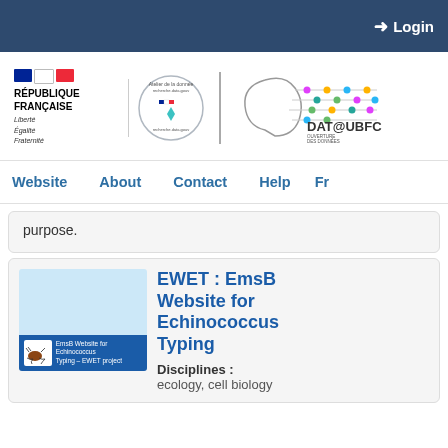Login
[Figure (logo): République Française logo with tricolor flag, Liberté Égalité Fraternité motto]
[Figure (logo): Atelier de la donnée recherche.data.gouv circular logo]
[Figure (logo): DAT@UBFC Ouverture des données de la recherche logo with connected brain graphic]
Website   About   Contact   Help   Fr
purpose.
EWET : EmsB Website for Echinococcus Typing
Disciplines :
ecology, cell biology